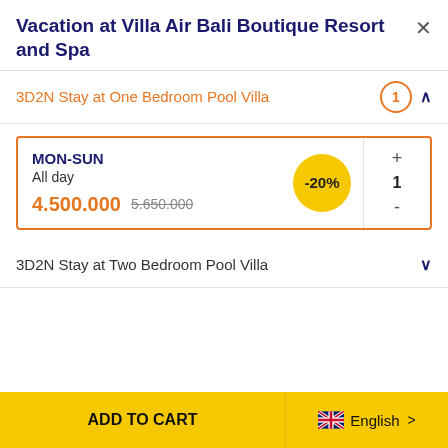Vacation at Villa Air Bali Boutique Resort and Spa
3D2N Stay at One Bedroom Pool Villa
MON-SUN
All day
4.500.000  5.650.000
-20%
1
3D2N Stay at Two Bedroom Pool Villa
ADD TO CART   English  >